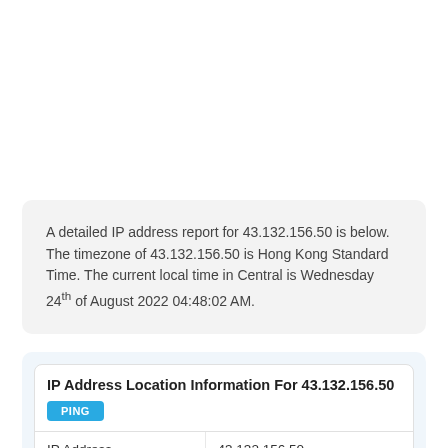A detailed IP address report for 43.132.156.50 is below. The timezone of 43.132.156.50 is Hong Kong Standard Time. The current local time in Central is Wednesday 24th of August 2022 04:48:02 AM.
| IP Address Location Information For 43.132.156.50 |
| --- |
| IP Address | 43.132.156.50 |